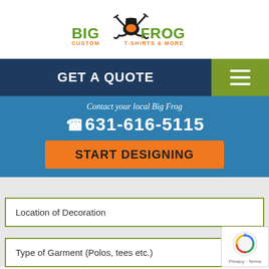[Figure (logo): Big Frog Custom T-Shirts & More logo with frog mascot]
GET A QUOTE
Contact your local Big Frog
(phone icon) 631-616-5115
START DESIGNING
Location of Decoration
Type of Garment (Polos, tees etc.)